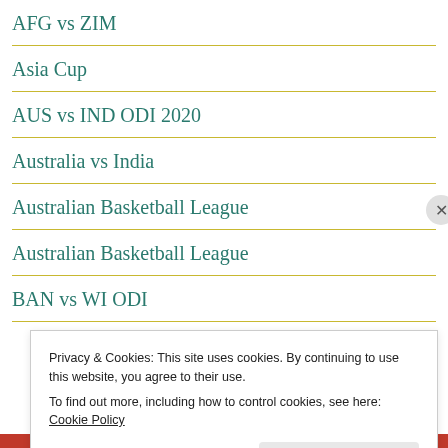AFG vs ZIM
Asia Cup
AUS vs IND ODI 2020
Australia vs India
Australian Basketball League
Australian Basketball League
BAN vs WI ODI
Privacy & Cookies: This site uses cookies. By continuing to use this website, you agree to their use. To find out more, including how to control cookies, see here: Cookie Policy
Close and accept